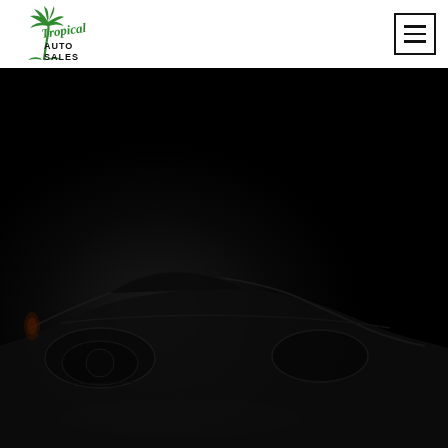[Figure (logo): Tropical Auto Sales logo — green palm tree graphic with 'Tropical' in green script and 'AUTO SALES' in bold black text below]
[Figure (other): Hamburger menu icon — three horizontal lines inside a square border, top right of header]
[Figure (photo): Dark hero image of a sports car (rear three-quarter view) against a nearly black background, faintly visible]